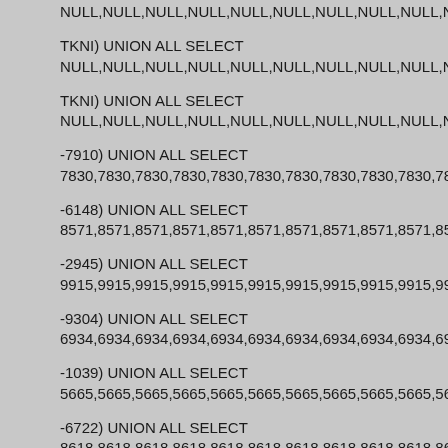NULL,NULL,NULL,NULL,NULL,NULL,NULL,NULL,NULL,NULL,NU...
TKNI) UNION ALL SELECT
NULL,NULL,NULL,NULL,NULL,NULL,NULL,NULL,NULL,NULL,NUI...
TKNI) UNION ALL SELECT
NULL,NULL,NULL,NULL,NULL,NULL,NULL,NULL,NULL,NULL,NUI...
-7910) UNION ALL SELECT
7830,7830,7830,7830,7830,7830,7830,7830,7830,7830,7830,7830,...
-6148) UNION ALL SELECT
8571,8571,8571,8571,8571,8571,8571,8571,8571,8571,8571,8571,...
-2945) UNION ALL SELECT
9915,9915,9915,9915,9915,9915,9915,9915,9915,9915,9915,9915,...
-9304) UNION ALL SELECT
6934,6934,6934,6934,6934,6934,6934,6934,6934,6934,6934,6934,...
-1039) UNION ALL SELECT
5665,5665,5665,5665,5665,5665,5665,5665,5665,5665,5665,5665,...
-6722) UNION ALL SELECT
8618,8618,8618,8618,8618,8618,8618,8618,8618,8618,8618,8618,...
-1907) UNION ALL SELECT